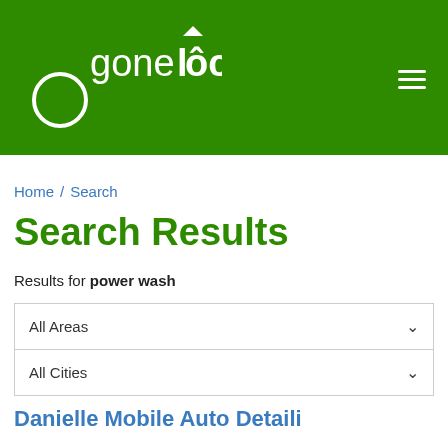[Figure (logo): gonelocal logo in white on green background with hamburger menu icon]
Home / Search
Search Results
Results for power wash
All Areas
All Cities
Danielle Mobile Auto Detailing